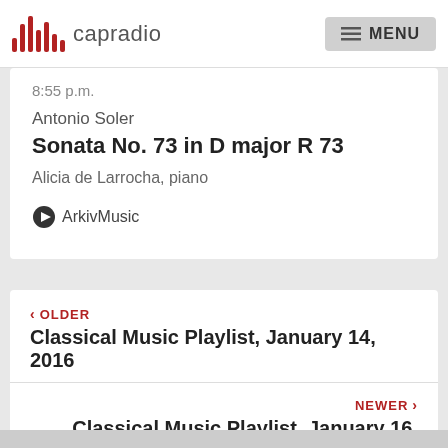capradio — MENU
8:55 p.m.
Antonio Soler
Sonata No. 73 in D major R 73
Alicia de Larrocha, piano
ArkivMusic
< OLDER
Classical Music Playlist, January 14, 2016
NEWER >
Classical Music Playlist, January 16, 2016